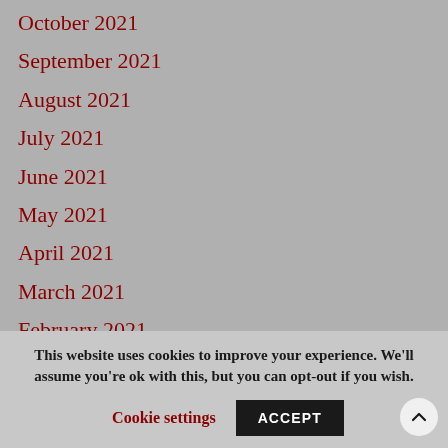October 2021
September 2021
August 2021
July 2021
June 2021
May 2021
April 2021
March 2021
February 2021
January 2021
This website uses cookies to improve your experience. We'll assume you're ok with this, but you can opt-out if you wish.
Cookie settings
ACCEPT